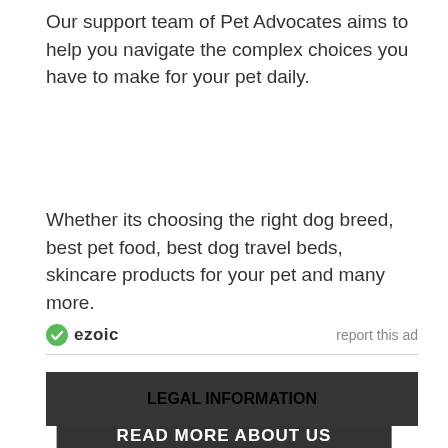Our support team of Pet Advocates aims to help you navigate the complex choices you have to make for your pet daily.
Whether its choosing the right dog breed, best pet food, best dog travel beds, skincare products for your pet and many more.
READ MORE ABOUT US
[Figure (logo): Ezoic logo with green circular icon and text 'ezoic', alongside 'report this ad' link]
LEGAL INFORMATION